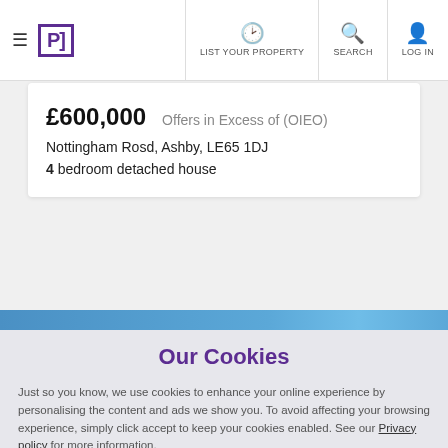≡ [P] | LIST YOUR PROPERTY | SEARCH | LOG IN
£600,000   Offers in Excess of (OIEO)
Nottingham Rosd, Ashby, LE65 1DJ
4 bedroom detached house
Our Cookies
Just so you know, we use cookies to enhance your online experience by personalising the content and ads we show you. To avoid affecting your browsing experience, simply click accept to keep your cookies enabled. See our Privacy policy for more information.
Accept cookies
Manage my settings